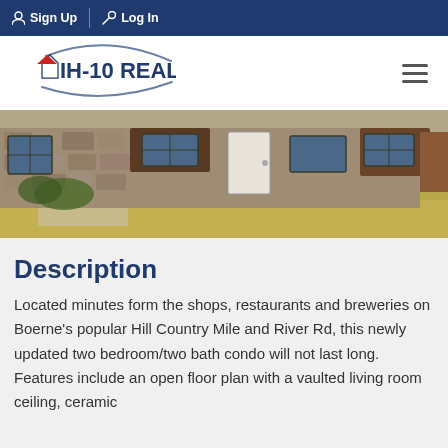Sign Up | Log In
[Figure (logo): IH-10 Realty logo with swoosh arc and house icon]
[Figure (photo): Exterior photo of a stone-faced condo building with lawn, windows, and front door]
Description
Located minutes form the shops, restaurants and breweries on Boerne's popular Hill Country Mile and River Rd, this newly updated two bedroom/two bath condo will not last long. Features include an open floor plan with a vaulted living room ceiling, ceramic